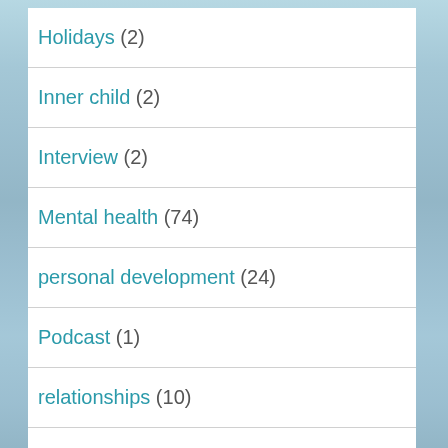Holidays (2)
Inner child (2)
Interview (2)
Mental health (74)
personal development (24)
Podcast (1)
relationships (10)
Spirituality (202)